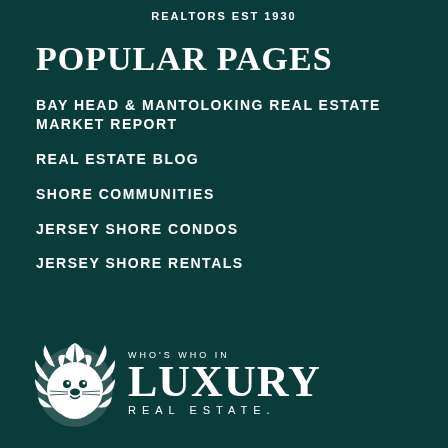REALTORS EST 1930
POPULAR PAGES
BAY HEAD & MANTOLOKING REAL ESTATE MARKET REPORT
REAL ESTATE BLOG
SHORE COMMUNITIES
JERSEY SHORE CONDOS
JERSEY SHORE RENTALS
[Figure (logo): Who's Who In Luxury Real Estate logo with lion emblem]